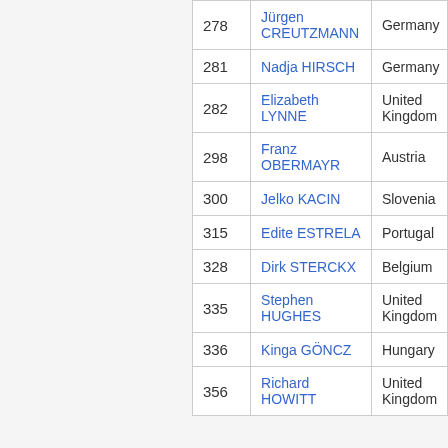|  | Number | Name | Country |
| --- | --- | --- | --- |
|  | 278 | Jürgen CREUTZMANN | Germany |
|  | 281 | Nadja HIRSCH | Germany |
|  | 282 | Elizabeth LYNNE | United Kingdom |
|  | 298 | Franz OBERMAYR | Austria |
|  | 300 | Jelko KACIN | Slovenia |
|  | 315 | Edite ESTRELA | Portugal |
|  | 328 | Dirk STERCKX | Belgium |
|  | 335 | Stephen HUGHES | United Kingdom |
|  | 336 | Kinga GÖNCZ | Hungary |
|  | 356 | Richard HOWITT | United Kingdom |